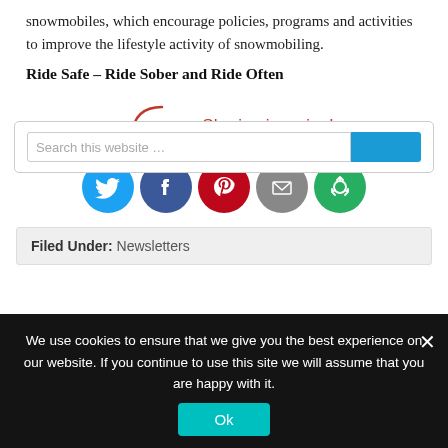snowmobiles, which encourage policies, programs and activities to improve the lifestyle activity of snowmobiling.
Ride Safe – Ride Sober and Ride Often
[Figure (infographic): Sharing is caring! text with a red handwritten font and curved arrow, followed by 5 social media icon circles: Twitter (blue), Facebook (dark blue), Pinterest (red), Email (grey), Share/Recycle (green)]
Filed Under: Newsletters
[Figure (screenshot): Search box with blue search button, partially visible]
We use cookies to ensure that we give you the best experience on our website. If you continue to use this site we will assume that you are happy with it.